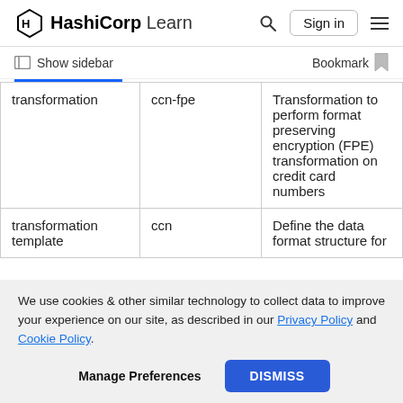HashiCorp Learn  Sign in
Show sidebar   Bookmark
|  |  |  |
| --- | --- | --- |
| transformation | ccn-fpe | Transformation to perform format preserving encryption (FPE) transformation on credit card numbers |
| transformation template | ccn | Define the data format structure for |
We use cookies & other similar technology to collect data to improve your experience on our site, as described in our Privacy Policy and Cookie Policy.
Manage Preferences   DISMISS